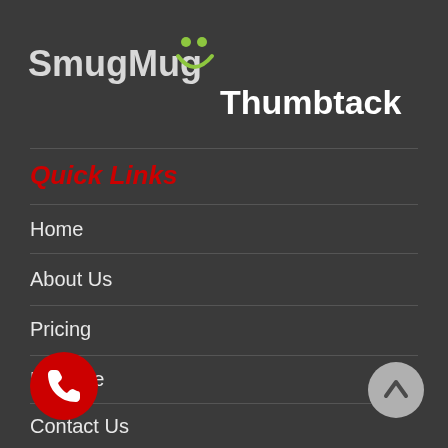[Figure (logo): SmugMug logo with text and smiley face icon in green]
[Figure (logo): Thumbtack logo in white bold text]
Quick Links
Home
About Us
Pricing
Reserve
Contact Us
[Figure (illustration): Red circular phone call button with white phone handset icon]
[Figure (illustration): Light gray circular up-arrow button]